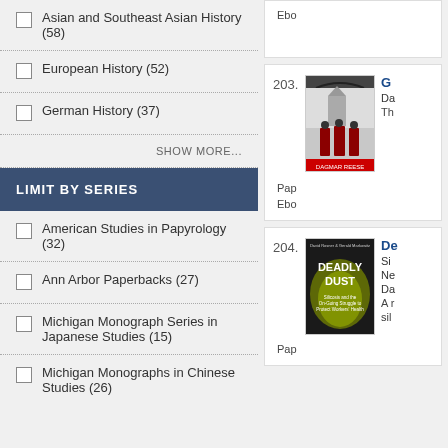Asian and Southeast Asian History (58)
European History (52)
German History (37)
SHOW MORE...
LIMIT BY SERIES
American Studies in Papyrology (32)
Ann Arbor Paperbacks (27)
Michigan Monograph Series in Japanese Studies (15)
Michigan Monographs in Chinese Studies (26)
Ebo
[Figure (photo): Book cover of item 203 - a book by Dagmar Reese showing figures under an arch]
203. G... Da... Th... Pap Ebo
[Figure (photo): Book cover of item 204 - Deadly Dust: Silicosis and the On-Going Struggle to Protect Workers' Health]
204. De... Si... Ne... Da... A r... sil... Pap